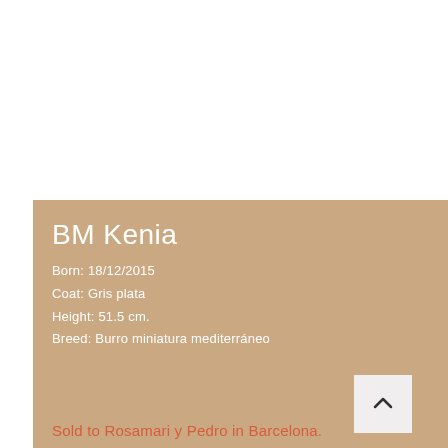BM Kenia
Born: 18/12/2015
Coat: Gris plata
Height: 51.5 cm.
Breed: Burro miniatura mediterráneo
Sold to Rosamari y Pedro in Barcelona.